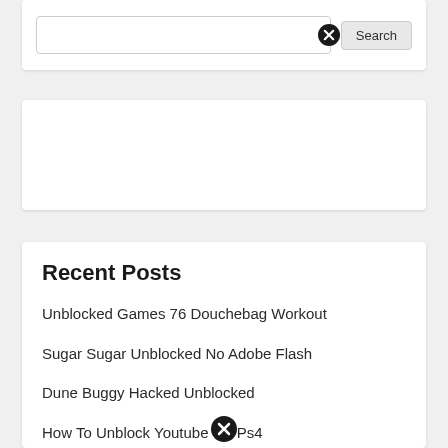[Figure (screenshot): Search bar with close (X) icon and Search button, partially visible at top]
[Figure (screenshot): Empty white card, likely an advertisement placeholder]
Recent Posts
Unblocked Games 76 Douchebag Workout
Sugar Sugar Unblocked No Adobe Flash
Dune Buggy Hacked Unblocked
How To Unblock Youtube On Ps4
Earn To Die Unblocked Games